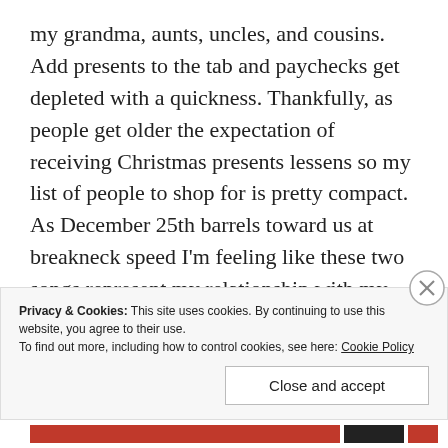my grandma, aunts, uncles, and cousins. Add presents to the tab and paychecks get depleted with a quickness. Thankfully, as people get older the expectation of receiving Christmas presents lessens so my list of people to shop for is pretty compact. As December 25th barrels toward us at breakneck speed I'm feeling like these two songs represent my relationship with my bank account during the holidays. “Last Christmas” got downright ugly. I’m hoping for better “This Christmas.”
Privacy & Cookies: This site uses cookies. By continuing to use this website, you agree to their use.
To find out more, including how to control cookies, see here: Cookie Policy
Close and accept